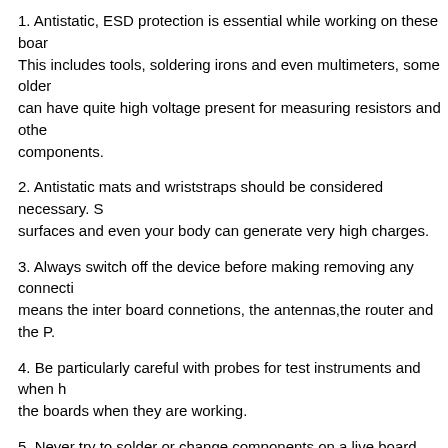1. Antistatic, ESD protection is essential while working on these boards. This includes tools, soldering irons and even multimeters, some older can have quite high voltage present for measuring resistors and other components.
2. Antistatic mats and wriststraps should be considered necessary. Some surfaces and even your body can generate very high charges.
3. Always switch off the device before making removing any connections means the inter board connetions, the antennas,the router and the P.
4. Be particularly careful with probes for test instruments and when handling the boards when they are working.
5. Never try to solder or change components on a live board, whilst the voltages are quite small, transient charges can destroy many sensitive components.
While this certainly isn't an exhaustive, it should provide some background and thought before your next design. Next time you have an external device connected to some circuit input you may want to consider one or more of these techniques. For further ideas you might look at